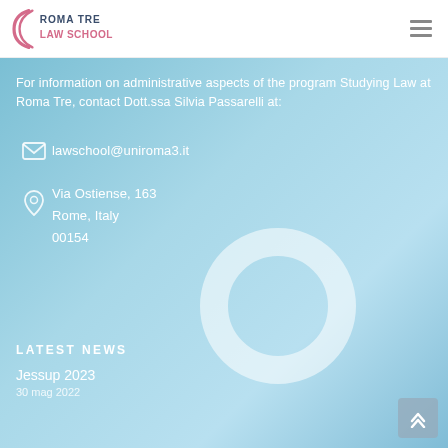[Figure (logo): Roma Tre Law School logo with pink/blue arc and text]
For information on administrative aspects of the program Studying Law at Roma Tre, contact Dott.ssa Silvia Passarelli at:
lawschool@uniroma3.it
Via Ostiense, 163
Rome, Italy
00154
LATEST NEWS
Jessup 2023
30 mag 2022